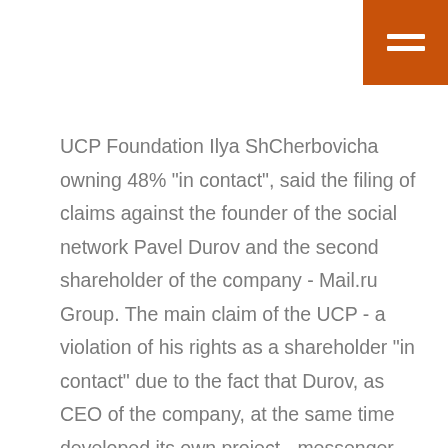[Figure (other): Orange square hamburger menu button in top-right corner with two white horizontal lines]
UCP Foundation Ilya ShCherbovicha owning 48% "in contact", said the filing of claims against the founder of the social network Pavel Durov and the second shareholder of the company - Mail.ru Group. The main claim of the UCP - a violation of his rights as a shareholder "in contact" due to the fact that Durov, as CEO of the company, at the same time developed its own project - messenger Telegram. The Fund requires Telegram was handed over "in contact". Sue UCP going to the British Virgin Islands (there is registered owner of "in contact" and VK.com